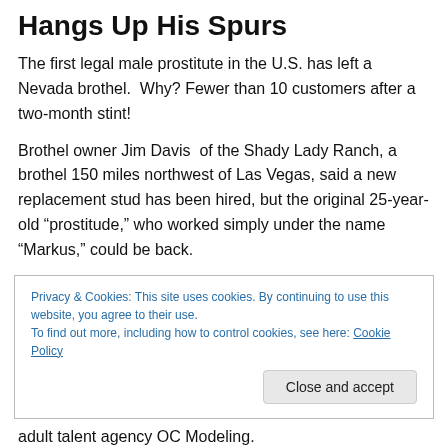Hangs Up His Spurs
The first legal male prostitute in the U.S. has left a Nevada brothel.  Why? Fewer than 10 customers after a two-month stint!
Brothel owner Jim Davis  of the Shady Lady Ranch, a brothel 150 miles northwest of Las Vegas, said a new replacement stud has been hired, but the original 25-year-old “prostitute,” who worked simply under the name “Markus,” could be back.
Privacy & Cookies: This site uses cookies. By continuing to use this website, you agree to their use.
To find out more, including how to control cookies, see here: Cookie Policy
adult talent agency OC Modeling.